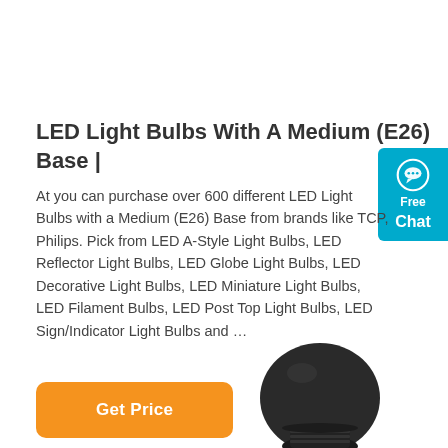LED Light Bulbs With A Medium (E26) Base |
At you can purchase over 600 different LED Light Bulbs with a Medium (E26) Base from brands like TCP, Philips. Pick from LED A-Style Light Bulbs, LED Reflector Light Bulbs, LED Globe Light Bulbs, LED Decorative Light Bulbs, LED Miniature Light Bulbs, LED Filament Bulbs, LED Post Top Light Bulbs, LED Sign/Indicator Light Bulbs and …
[Figure (other): Orange 'Get Price' call-to-action button with rounded corners]
[Figure (other): Teal/cyan chat widget on right edge with speech bubble icon, 'Free Chat' label]
[Figure (photo): LED light bulb (dark colored, E26 medium base) partially visible at bottom of page]